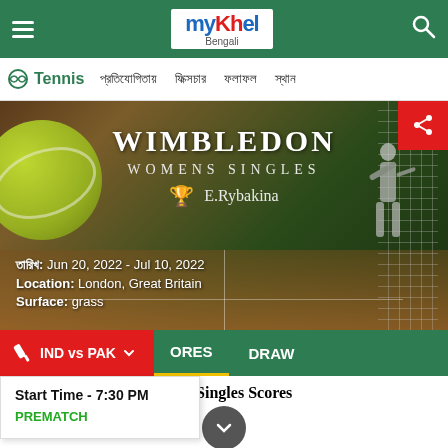myKhel Bengali — Tennis navigation: প্রতিযোগিতায়, ফিক্সচার, ফলাফল, স্থান
[Figure (screenshot): Wimbledon 2022 Womens Singles hero banner with tennis ball and player silhouette background. Shows WIMBLEDON in large letters, WOMENS SINGLES subtitle, trophy icon with E.Rybakina, date Jun 20 2022 - Jul 10 2022, Location London Great Britain, Surface grass. Share button top right.]
তারিখ: Jun 20, 2022 - Jul 10, 2022
Location: London, Great Britain
Surface: grass
IND vs PAK
Start Time - 7:30 PM
PREMATCH
Wimbledon 2022 Womens Singles Scores